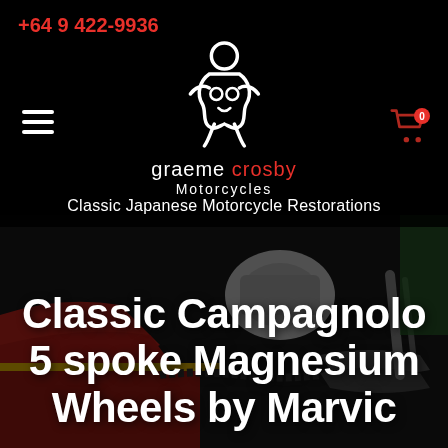+64 9 422-9936
[Figure (logo): Graeme Crosby Motorcycles logo — stylized abstract figure with circular shapes, text 'graeme crosby Motorcycles']
Classic Japanese Motorcycle Restorations
[Figure (photo): Close-up photograph of a classic motorcycle workshop showing red bodywork, engine, chain, and exhaust components]
Classic Campagnolo 5 spoke Magnesium Wheels by Marvic